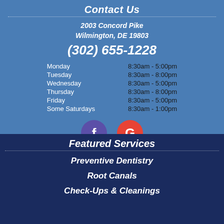Contact Us
2003 Concord Pike
Wilmington, DE 19803
(302) 655-1228
| Day | Hours |
| --- | --- |
| Monday | 8:30am - 5:00pm |
| Tuesday | 8:30am - 8:00pm |
| Wednesday | 8:30am - 5:00pm |
| Thursday | 8:30am - 8:00pm |
| Friday | 8:30am - 5:00pm |
| Some Saturdays | 8:30am - 1:00pm |
[Figure (logo): Facebook and Google social media icons]
Featured Services
Preventive Dentistry
Root Canals
Check-Ups & Cleanings